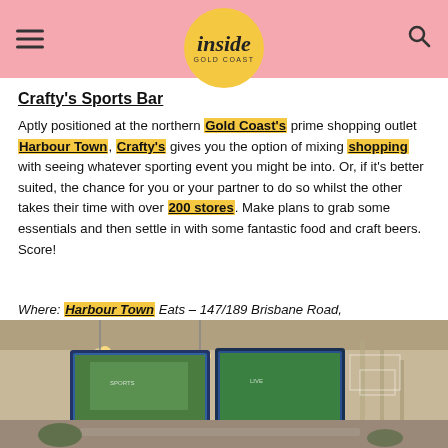inside Gold Coast
Crafty's Sports Bar
Aptly positioned at the northern Gold Coast's prime shopping outlet Harbour Town, Crafty's gives you the option of mixing shopping with seeing whatever sporting event you might be into. Or, if it's better suited, the chance for you or your partner to do so whilst the other takes their time with over 200 stores. Make plans to grab some essentials and then settle in with some fantastic food and craft beers. Score!
Where: Harbour Town Eats – 147/189 Brisbane Road, Biggera Waters
[Figure (photo): Interior of Crafty's Sports Bar at Harbour Town showing large TV screens displaying sports events, modern bar interior with pendant lights]